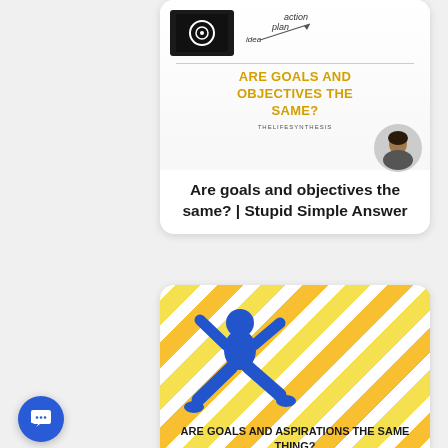[Figure (illustration): Thumbnail image card showing a dark target/eye image and a plan-action diagram with text 'ARE GOALS AND OBJECTIVES THE SAME?' in yellow, with THELIFESYNTHESIS branding and a woman's face in a circle]
Are goals and objectives the same? | Stupid Simple Answer
[Figure (illustration): Thumbnail image card showing a blue silhouette figure leaping/jumping over a yellow diagonal stripe background with text 'ARE GOALS AND ASPIRATIONS THE SAME THING?' and THELIFESYNTHESIS branding]
Are goals and aspirations the